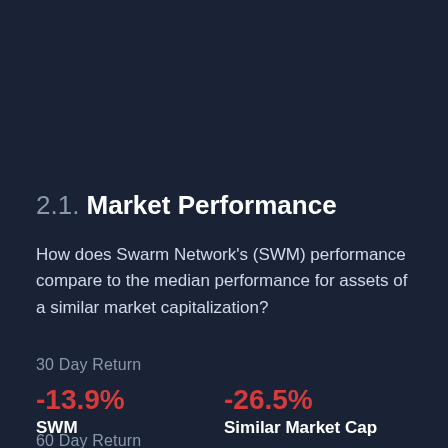2.1. Market Performance
How does Swarm Network's (SWM) performance compare to the median performance for assets of a similar market capitalization?
30 Day Return
|  |  |
| --- | --- |
| -13.9% | -26.5% |
| SWM | Similar Market Cap |
60 Day Return